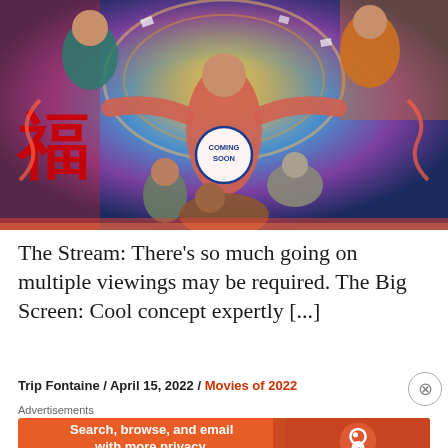[Figure (photo): Colorful illustrated movie poster showing a woman in the center with arms outstretched surrounded by many characters in a psychedelic, vibrant setting. A badge reading 'COMING SOON' appears in the center-lower portion of the image.]
The Stream: There’s so much going on multiple viewings may be required. The Big Screen: Cool concept expertly [...]
Trip Fontaine / April 15, 2022 / Movies of 2022
Advertisements
[Figure (screenshot): DuckDuckGo advertisement banner: 'Search, browse, and email with more privacy. All in One Free App' with DuckDuckGo logo on the right side. Orange background.]